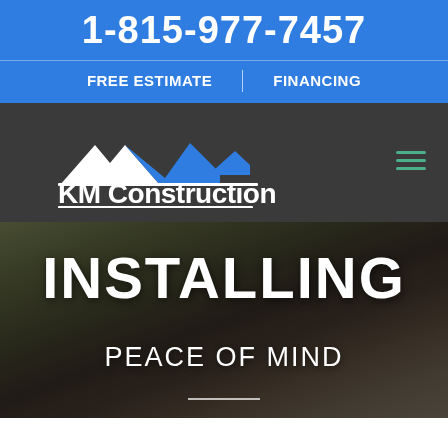1-815-977-7457
FREE ESTIMATE | FINANCING
[Figure (logo): KM Construction Inc. logo with a house/roof icon in blue and white on dark background]
INSTALLING
PEACE OF MIND